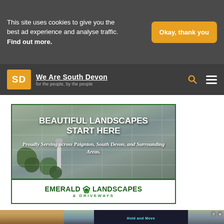This site uses cookies to give you the best ad experience and analyse traffic. Find out more.
Okay, thank you
We Are South Devon – for the people, by the people
[Figure (illustration): Emerald Landscapes & Driveways advertisement. Shows paved driveway with landscaping. Text: BEAUTIFUL LANDSCAPES START HERE. Proudly Serving across Paignton, South Devon, and Surrounding Areas. EMERALD LANDSCAPES & DRIVEWAYS.]
[Figure (screenshot): Partial view of another advertisement at bottom of page showing 'Hold and Move' game/app with trees in background.]